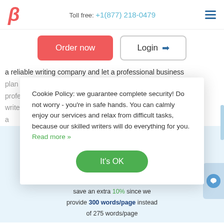Toll free: +1(877) 218-0479
Order now
Login →
a reliable writing company and let a professional business plan writer...
Cookie Policy: we guarantee complete security! Do not worry - you're in safe hands. You can calmly enjoy our services and relax from difficult tasks, because our skilled writers will do everything for you. Read more »
It's OK
Benefit from our service: save 25%
Along with the first order offer - 15% discount (code: 15best), you save an extra 10% since we provide 300 words/page instead of 275 words/page